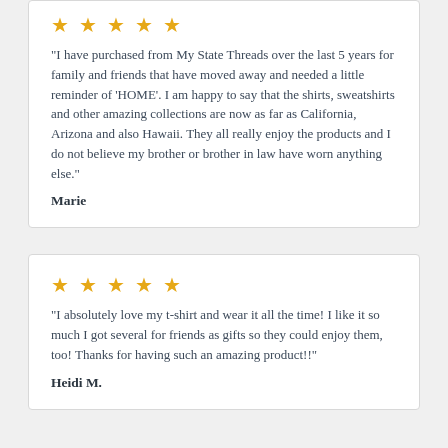[Figure (other): Five gold stars rating]
"I have purchased from My State Threads over the last 5 years for family and friends that have moved away and needed a little reminder of 'HOME'. I am happy to say that the shirts, sweatshirts and other amazing collections are now as far as California, Arizona and also Hawaii. They all really enjoy the products and I do not believe my brother or brother in law have worn anything else."
Marie
[Figure (other): Five gold stars rating]
"I absolutely love my t-shirt and wear it all the time! I like it so much I got several for friends as gifts so they could enjoy them, too! Thanks for having such an amazing product!!"
Heidi M.